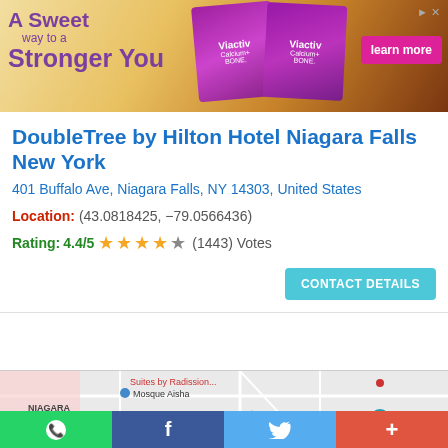[Figure (photo): Viactiv Calcium + Bone supplement advertisement banner with text 'A Sweet way to a Stronger You' and 'learn more' button on a caramel/chocolate background]
DoubleTree by Hilton Hotel Niagara Falls New York
401 Buffalo Ave, Niagara Falls, NY 14303, United States
Location: (43.0818425, -79.0566436)
Rating: 4.4/5 ★★★★☆ (1443) Votes
CONTACT DETAILS
[Figure (map): Google Maps screenshot showing Niagara Falls Centre area with Mosque Aisha, Casino Niagara, Emery St, and Centre St labels visible]